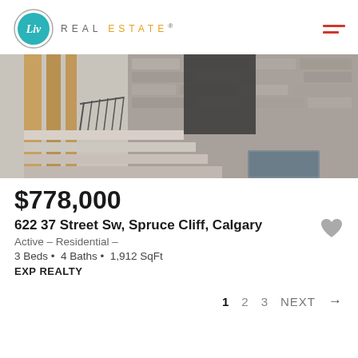[Figure (logo): Liv Real Estate logo with teal circle containing 'Liv' text and 'REAL ESTATE' wordmark in grey/gold]
[Figure (photo): Exterior photo of a modern residential property showing stone facade, wooden pillars, and front steps]
$778,000
622 37 Street Sw, Spruce Cliff, Calgary
Active – Residential –
3 Beds • 4 Baths • 1,912 SqFt
EXP REALTY
1  2  3  NEXT →